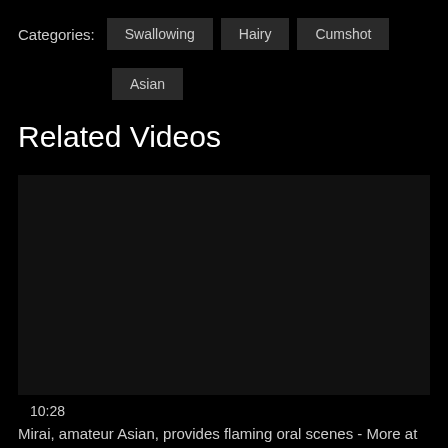Categories: Swallowing Hairy Cumshot Asian
Related Videos
[Figure (screenshot): Black video thumbnail placeholder]
10:28
Mirai, amateur Asian, provides flaming oral scenes - More at